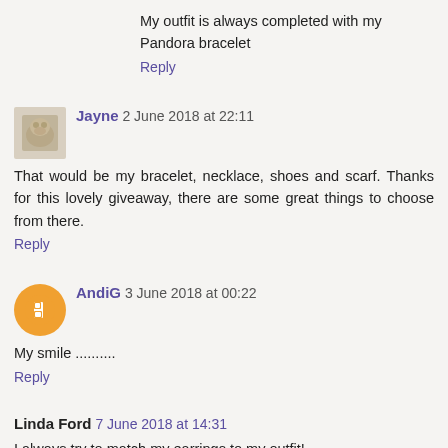My outfit is always completed with my Pandora bracelet
Reply
Jayne 2 June 2018 at 22:11
That would be my bracelet, necklace, shoes and scarf. Thanks for this lovely giveaway, there are some great things to choose from there.
Reply
AndiG 3 June 2018 at 00:22
My smile .........
Reply
Linda Ford 7 June 2018 at 14:31
I always try to match my earrings to my outfit!
Reply